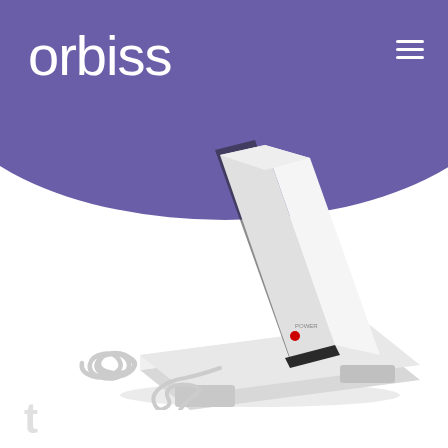orbiss
[Figure (photo): A sleek white modern telephone handset with a coiled cord, resting on an angular white base unit with a red power indicator light. The design is minimalist and contemporary.]
t